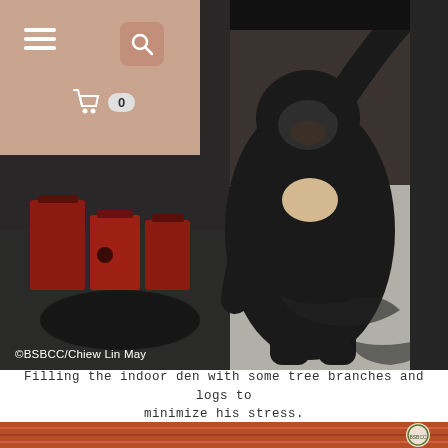Navigation bar with hamburger menu, search icon, and cart (0)
[Figure (photo): A sun bear standing upright on hind legs inside an indoor den, reaching up to grab a tree branch. The bear has a light-colored chest patch. The floor is concrete with dark stains. Red containers are visible in the background. Photo credit: ©BSBCC/Chiew Lin May]
Filling the indoor den with some tree branches and logs to minimize his stress.
[Figure (photo): Partial view of red/orange colored tiled or wooden slat surface with a circular logo for Bornean Sun Bear Conservation Centre (BSBCC) visible in the lower right corner.]